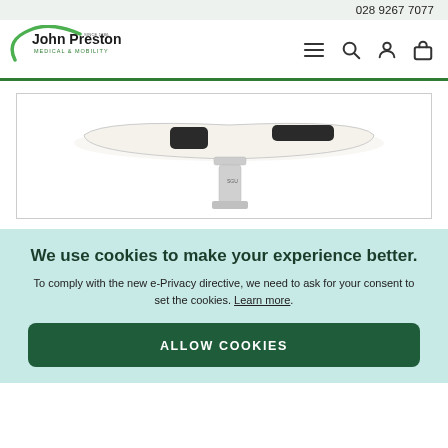028 9267 7077
[Figure (logo): John Preston Medical & Mobility logo with green arc and 'Since 1886' text]
[Figure (photo): White medical overbed/swivel table with black padded arm rests and pedestal base, viewed from above at an angle]
We use cookies to make your experience better.
To comply with the new e-Privacy directive, we need to ask for your consent to set the cookies. Learn more.
ALLOW COOKIES